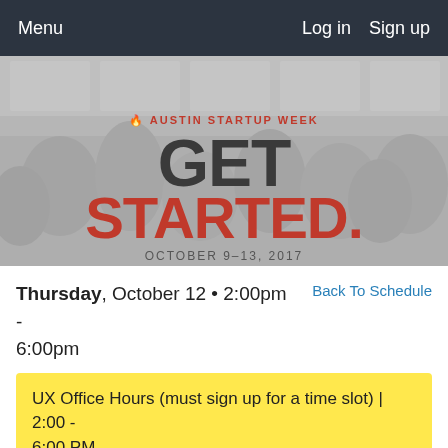Menu | Log in  Sign up
[Figure (photo): Austin Startup Week hero banner with crowd background. Text: AUSTIN STARTUP WEEK / GET / STARTED. / OCTOBER 9-13, 2017]
Thursday, October 12 • 2:00pm - 6:00pm
Back To Schedule
UX Office Hours (must sign up for a time slot) | 2:00 - 6:00 PM